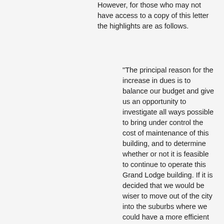However, for those who may not have access to a copy of this letter the highlights are as follows.
"The principal reason for the increase in dues is to balance our budget and give us an opportunity to investigate all ways possible to bring under control the cost of maintenance of this building, and to determine whether or not it is feasible to continue to operate this Grand Lodge building. If it is decided that we would be wiser to move out of the city into the suburbs where we could have a more efficient building with sufficient parking, then we do not want to be forced into hasty decisions which we will regret later. It is my opinion that we should continue to use this building as long as possible, as the value is